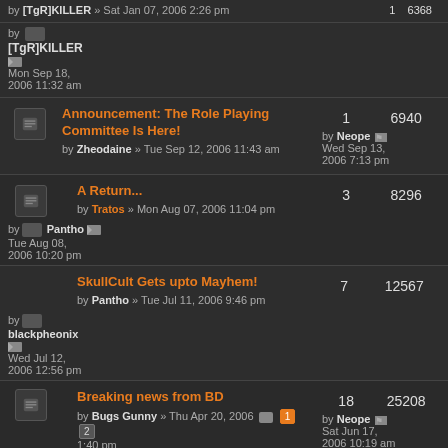by [TgR]KILLER » Sat Jan 07, 2006 2:26 pm | 1 | 6368 | by [TgR]KILLER Mon Sep 18, 2006 11:32 am
Announcement: The Role Playing Committee Is Here! by Zheodaine » Tue Sep 12, 2006 11:43 am | 1 | 6940 | by Neope Wed Sep 13, 2006 7:13 pm
A Return... by Tratos » Mon Aug 07, 2006 11:04 pm | 3 | 8296 | by Pantho Tue Aug 08, 2006 10:20 pm
SkullCult Gets upto Mayhem! by Pantho » Tue Jul 11, 2006 9:46 pm | 7 | 12567 | by blackpheonix Wed Jul 12, 2006 12:56 pm
Breaking news from BD by Bugs Gunny » Thu Apr 20, 2006 1:40 pm | 18 | 25208 | by Neope Sat Jun 17, 2006 10:19 am
BGS: John Keel